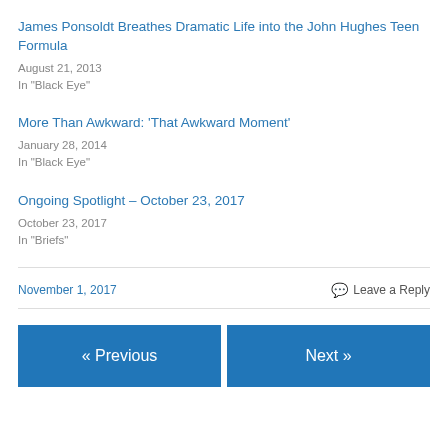James Ponsoldt Breathes Dramatic Life into the John Hughes Teen Formula
August 21, 2013
In "Black Eye"
More Than Awkward: 'That Awkward Moment'
January 28, 2014
In "Black Eye"
Ongoing Spotlight – October 23, 2017
October 23, 2017
In "Briefs"
November 1, 2017
Leave a Reply
« Previous
Next »